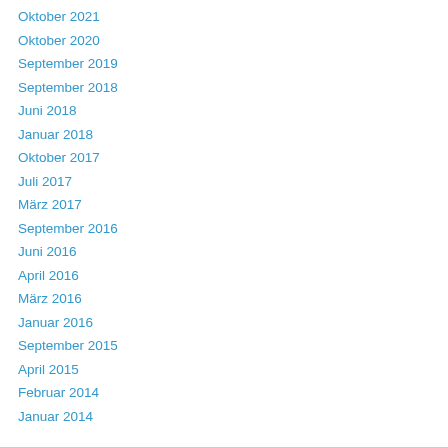Oktober 2021
Oktober 2020
September 2019
September 2018
Juni 2018
Januar 2018
Oktober 2017
Juli 2017
März 2017
September 2016
Juni 2016
April 2016
März 2016
Januar 2016
September 2015
April 2015
Februar 2014
Januar 2014